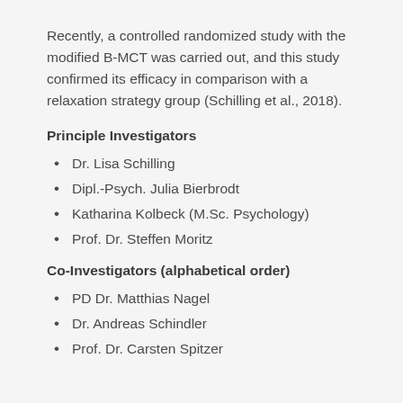Recently, a controlled randomized study with the modified B-MCT was carried out, and this study confirmed its efficacy in comparison with a relaxation strategy group (Schilling et al., 2018).
Principle Investigators
Dr. Lisa Schilling
Dipl.-Psych. Julia Bierbrodt
Katharina Kolbeck (M.Sc. Psychology)
Prof. Dr. Steffen Moritz
Co-Investigators (alphabetical order)
PD Dr. Matthias Nagel
Dr. Andreas Schindler
Prof. Dr. Carsten Spitzer